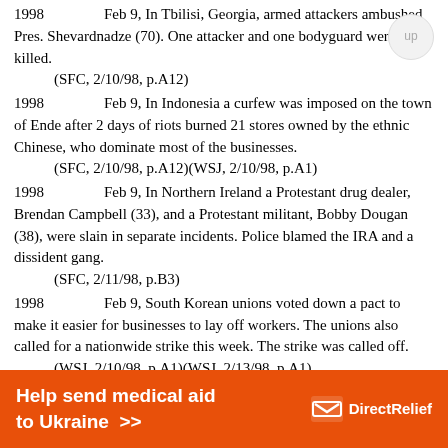1998	Feb 9, In Tbilisi, Georgia, armed attackers ambushed Pres. Shevardnadze (70). One attacker and one bodyguard were killed.
(SFC, 2/10/98, p.A12)
1998	Feb 9, In Indonesia a curfew was imposed on the town of Ende after 2 days of riots burned 21 stores owned by the ethnic Chinese, who dominate most of the businesses.
(SFC, 2/10/98, p.A12)(WSJ, 2/10/98, p.A1)
1998	Feb 9, In Northern Ireland a Protestant drug dealer, Brendan Campbell (33), and a Protestant militant, Bobby Dougan (38), were slain in separate incidents. Police blamed the IRA and a dissident gang.
(SFC, 2/11/98, p.B3)
1998	Feb 9, South Korean unions voted down a pact to make it easier for businesses to lay off workers. The unions also called for a nationwide strike this week. The strike was called off.
(WSJ, 2/10/98, p.A1)(WSJ, 2/13/98, p.A1)
1998	Feb 9, In Mexico it was reported that flash floods in Tijuana killed at least 13 people.
[Figure (other): Orange advertisement banner: 'Help send medical aid to Ukraine >>' with Direct Relief logo]